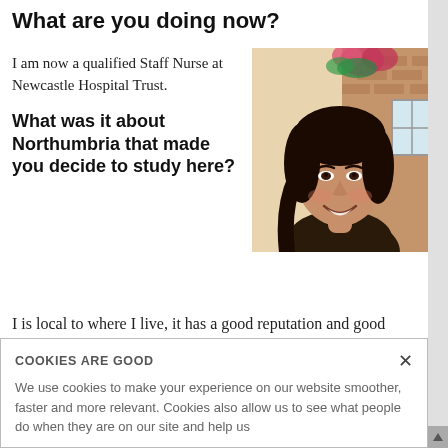What are you doing now?
I am now a qualified Staff Nurse at Newcastle Hospital Trust.
[Figure (photo): Smiling young woman with dark hair outdoors in front of a brick building with flowers]
What was it about Northumbria that made you decide to study here?
I is local to where I live, it has a good reputation and good facilities for learning.
COOKIES ARE GOOD
We use cookies to make your experience on our website smoother, faster and more relevant. Cookies also allow us to see what people do when they are on our site and help us